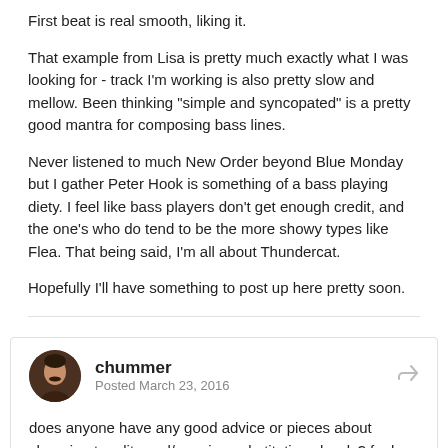First beat is real smooth, liking it.
That example from Lisa is pretty much exactly what I was looking for - track I'm working is also pretty slow and mellow. Been thinking "simple and syncopated" is a pretty good mantra for composing bass lines.
Never listened to much New Order beyond Blue Monday but I gather Peter Hook is something of a bass playing diety. I feel like bass players don't get enough credit, and the one's who do tend to be the more showy types like Flea. That being said, I'm all about Thundercat.
Hopefully I'll have something to post up here pretty soon.
chummer
Posted March 23, 2016
does anyone have any good advice or pieces about changing tonality and/or using substitution chords? feel like that's the next thing i need to really get at in my composition skills.